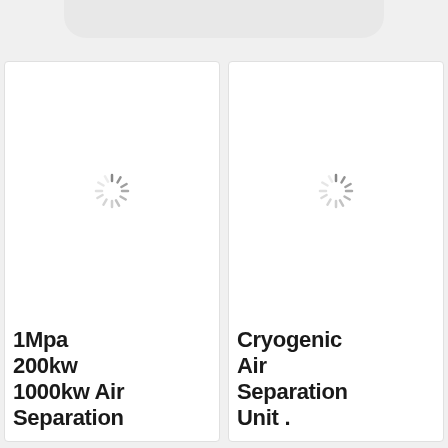[Figure (screenshot): Top navigation bar / rounded pill shape at the top of the page]
[Figure (photo): Product card left: loading spinner icon centered in white card area]
1Mpa 200kw 1000kw Air Separation
[Figure (photo): Product card right: loading spinner icon centered in white card area]
Cryogenic Air Separation Unit .